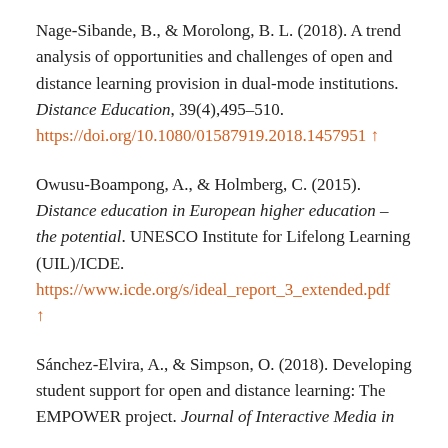Nage-Sibande, B., & Morolong, B. L. (2018). A trend analysis of opportunities and challenges of open and distance learning provision in dual-mode institutions. Distance Education, 39(4),495–510. https://doi.org/10.1080/01587919.2018.1457951 ↑
Owusu-Boampong, A., & Holmberg, C. (2015). Distance education in European higher education – the potential. UNESCO Institute for Lifelong Learning (UIL)/ICDE. https://www.icde.org/s/ideal_report_3_extended.pdf ↑
Sánchez-Elvira, A., & Simpson, O. (2018). Developing student support for open and distance learning: The EMPOWER project. Journal of Interactive Media in